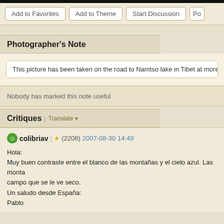[Figure (screenshot): Top black header bar cropped at top of page]
Add to Favorites
Add to Theme
Start Discussion
Po...
Photographer's Note
This picture has been taken on the road to Namtso lake in Tibet at more than 40...
Nobody has marked this note useful
Critiques | Translate
colibriav | (2208) 2007-08-30 14:49
Hola:
Muy buen contraste entre el blanco de las montañas y el cielo azul. Las monta... campo que se le ve seco.
Un saludo desde España:
Pablo